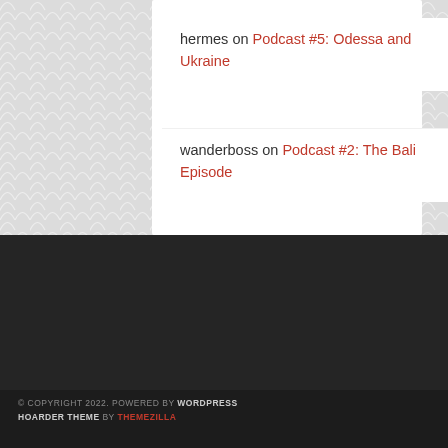hermes on Podcast #5: Odessa and Ukraine
wanderboss on Podcast #2: The Bali Episode
© COPYRIGHT 2022. POWERED BY WORDPRESS HOARDER THEME BY THEMEZILLA